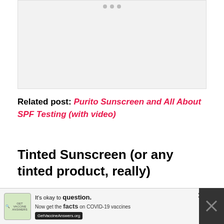[Figure (photo): Image carousel placeholder with three navigation dots at top, light grey background]
Related post: Purito Sunscreen and All About SPF Testing (with video)
Tinted Sunscreen (or any tinted product, really)
If you have darker skin (Fitzpatrick VI and above) and you're worried about pigmentation, you might
[Figure (infographic): Ad banner: It's okay to question. Now get the facts on COVID-19 vaccines. GetVaccineAnswers.org]